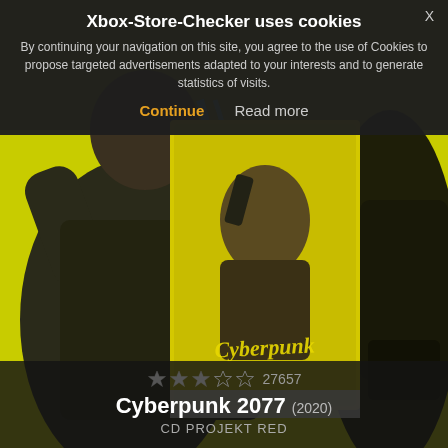[Figure (screenshot): Xbox Store Checker website screenshot showing Cyberpunk 2077 game page with cookie consent banner overlay. Background shows Cyberpunk 2077 game art with character in yellow environment. Center shows game box art with the Cyberpunk 2077 logo. Bottom shows star rating and game title.]
Xbox-Store-Checker uses cookies
By continuing your navigation on this site, you agree to the use of Cookies to propose targeted advertisements adapted to your interests and to generate statistics of visits.
Continue   Read more
27657
Cyberpunk 2077 (2020)
CD PROJEKT RED